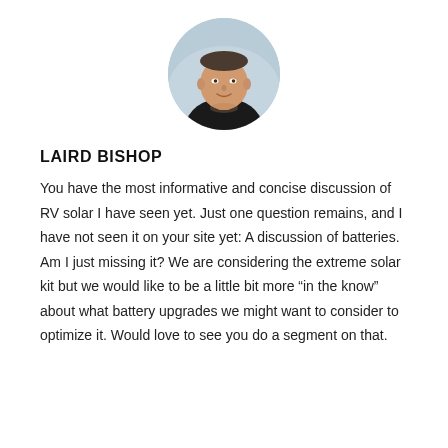[Figure (photo): Circular profile photo of Laird Bishop, a man in a black shirt, smiling, with a blurred outdoor background.]
LAIRD BISHOP
You have the most informative and concise discussion of RV solar I have seen yet. Just one question remains, and I have not seen it on your site yet: A discussion of batteries. Am I just missing it? We are considering the extreme solar kit but we would like to be a little bit more “in the know” about what battery upgrades we might want to consider to optimize it. Would love to see you do a segment on that.